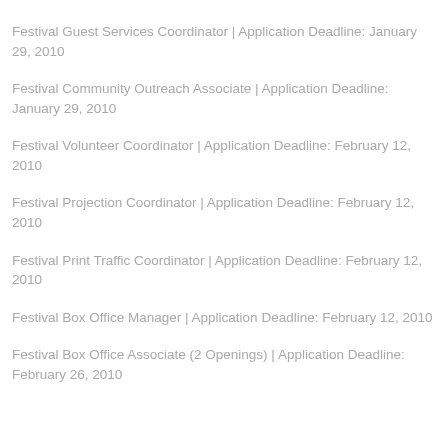Festival Guest Services Coordinator | Application Deadline: January 29, 2010
Festival Community Outreach Associate | Application Deadline: January 29, 2010
Festival Volunteer Coordinator | Application Deadline: February 12, 2010
Festival Projection Coordinator | Application Deadline: February 12, 2010
Festival Print Traffic Coordinator | Application Deadline: February 12, 2010
Festival Box Office Manager | Application Deadline: February 12, 2010
Festival Box Office Associate (2 Openings) | Application Deadline: February 26, 2010